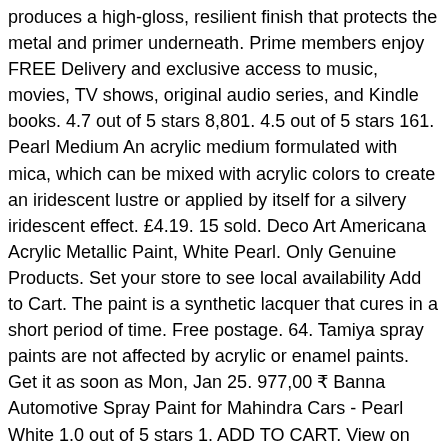produces a high-gloss, resilient finish that protects the metal and primer underneath. Prime members enjoy FREE Delivery and exclusive access to music, movies, TV shows, original audio series, and Kindle books. 4.7 out of 5 stars 8,801. 4.5 out of 5 stars 161. Pearl Medium An acrylic medium formulated with mica, which can be mixed with acrylic colors to create an iridescent lustre or applied by itself for a silvery iridescent effect. £4.19. 15 sold. Deco Art Americana Acrylic Metallic Paint, White Pearl. Only Genuine Products. Set your store to see local availability Add to Cart. The paint is a synthetic lacquer that cures in a short period of time. Free postage. 64. Tamiya spray paints are not affected by acrylic or enamel paints. Get it as soon as Mon, Jan 25. 977,00 ₹ Banna Automotive Spray Paint for Mahindra Cars - Pearl White 1.0 out of 5 stars 1. ADD TO CART. View on Vehicle Open in popup window Product Number: Comments: View Wishlist Added to Wishlist Rust-Oleum Universal Metallic Spray Paint. 98 $8.60 $8.60. Compare; Find My Store. of clear), Spaz Stix - Green Pearl Aerosol Paint, 3.5oz Can, Hemway | Glitter Paint